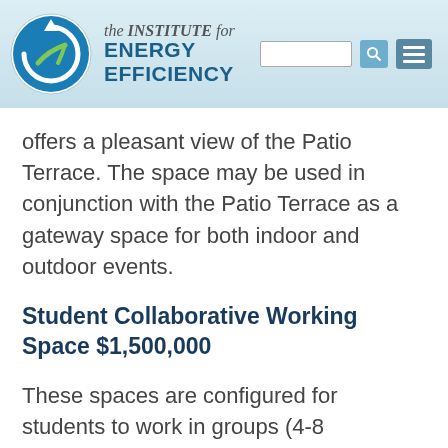the INSTITUTE for ENERGY EFFICIENCY
offers a pleasant view of the Patio Terrace. The space may be used in conjunction with the Patio Terrace as a gateway space for both indoor and outdoor events.
Student Collaborative Working Space $1,500,000
These spaces are configured for students to work in groups (4-8 students). Individual desks, tables, and white boards offer tools for joint work in a non-lab setting and are inductive to discussion-based tasks for